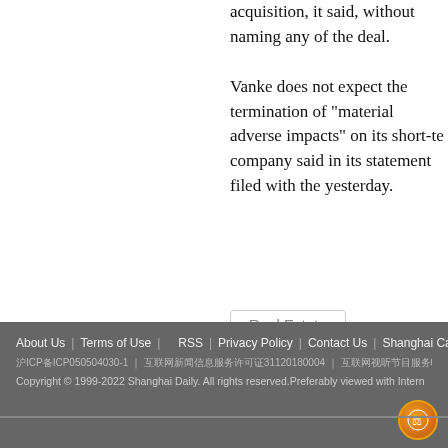acquisition, it said, without naming any of the deal.
Vanke does not expect the termination of "material adverse impacts" on its short-te company said in its statement filed with the yesterday.
Real Estate
[Figure (infographic): Social media share buttons: Facebook (blue), Twitter (light blue), LinkedIn (dark blue), WeChat (green)]
About Us | Terms of Use | RSS | Privacy Policy | Contact Us | Shanghai Call C
沪ICP备ICP050504030-1 | 互联网新闻信息服务许可证31120180004 | 互联网视听节目服务0909346 | 广播电视节目制作经营许可证35
Copyright © 1999-2022 Shanghai Daily. All rights reserved.Preferably viewed with Intern